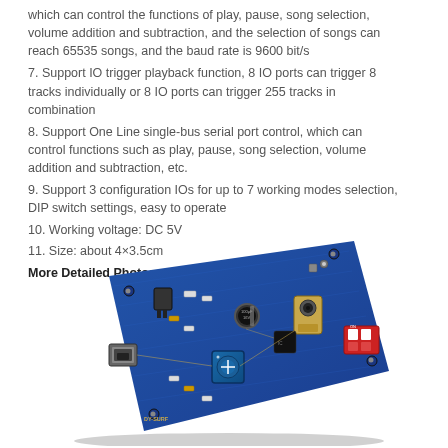which can control the functions of play, pause, song selection, volume addition and subtraction, and the selection of songs can reach 65535 songs, and the baud rate is 9600 bit/s
7. Support IO trigger playback function, 8 IO ports can trigger 8 tracks individually or 8 IO ports can trigger 255 tracks in combination
8. Support One Line single-bus serial port control, which can control functions such as play, pause, song selection, volume addition and subtraction, etc.
9. Support 3 configuration IOs for up to 7 working modes selection, DIP switch settings, easy to operate
10. Working voltage: DC 5V
11. Size: about 4×3.5cm
More Detailed Photos:
[Figure (photo): Close-up photograph of a blue PCB audio playback module board showing micro USB connector, blue potentiometer, capacitor, audio jack, and red DIP switch]